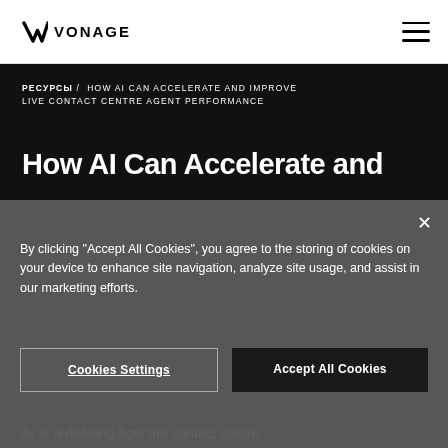VONAGE
РЕСУРСЫ / HOW AI CAN ACCELERATE AND IMPROVE LIVE CONTACT CENTRE AGENT PERFORMANCE
How AI Can Accelerate and
By clicking "Accept All Cookies", you agree to the storing of cookies on your device to enhance site navigation, analyze site usage, and assist in our marketing efforts.
Cookies Settings | Accept All Cookies
AI is redefining how the contact centre